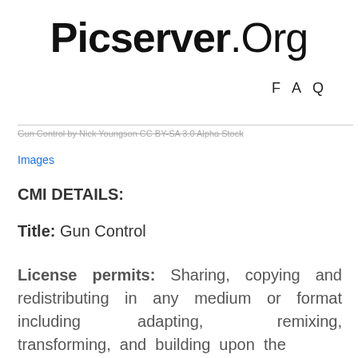Picserver.Org
FAQ
Gun Control by Nick Youngson CC BY-SA 3.0 Alpha Stock Images
CMI DETAILS:
Title: Gun Control
License permits: Sharing, copying and redistributing in any medium or format including adapting, remixing, transforming, and building upon the